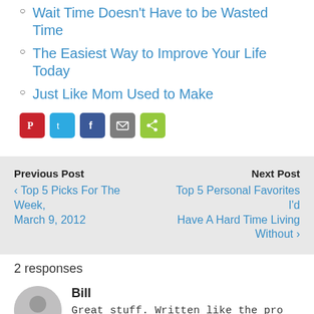Wait Time Doesn't Have to be Wasted Time
The Easiest Way to Improve Your Life Today
Just Like Mom Used to Make
[Figure (other): Social share buttons: Pinterest, Twitter, Facebook, Email, ShareThis]
Previous Post
‹ Top 5 Picks For The Week, March 9, 2012
Next Post
Top 5 Personal Favorites I'd Have A Hard Time Living Without ›
2 responses
Bill
Great stuff. Written like the pro you are.
Reply